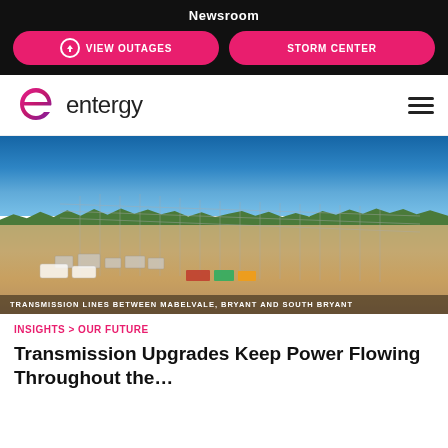Newsroom
[Figure (logo): VIEW OUTAGES button with lightning bolt icon and STORM CENTER button, pink rounded rectangles on black background]
[Figure (logo): Entergy logo with stylized 'e' icon in pink/purple gradient and text 'entergy' in dark sans-serif, with hamburger menu icon on right]
[Figure (photo): Aerial photograph of electrical transmission substation with power lines between Mabelvale, Bryant and South Bryant, showing equipment yard from above with blue sky]
TRANSMISSION LINES BETWEEN MABELVALE, BRYANT AND SOUTH BRYANT
INSIGHTS > OUR FUTURE
Transmission Upgrades Keep Power Flowing Throughout the...